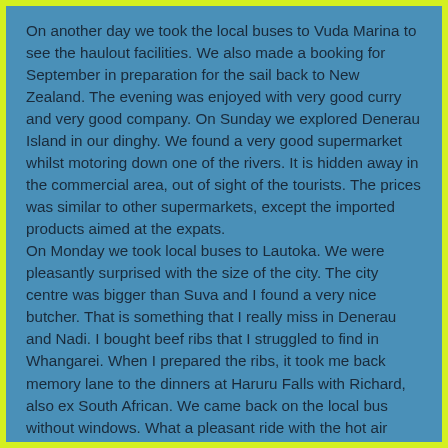On another day we took the local buses to Vuda Marina to see the haulout facilities. We also made a booking for September in preparation for the sail back to New Zealand. The evening was enjoyed with very good curry and very good company. On Sunday we explored Denerau Island in our dinghy. We found a very good supermarket whilst motoring down one of the rivers. It is hidden away in the commercial area, out of sight of the tourists. The prices was similar to other supermarkets, except the imported products aimed at the expats.
On Monday we took local buses to Lautoka. We were pleasantly surprised with the size of the city. The city centre was bigger than Suva and I found a very nice butcher. That is something that I really miss in Denerau and Nadi. I bought beef ribs that I struggled to find in Whangarei. When I prepared the ribs, it took me back memory lane to the dinners at Haruru Falls with Richard, also ex South African. We came back on the local bus without windows. What a pleasant ride with the hot air blowing through your hair and face cooling you down.
On another day we decided to explore the island from the land, going back to Suva. This round trip took 8 hours, but the trip was done in an air conditioned luxury bus. The trip